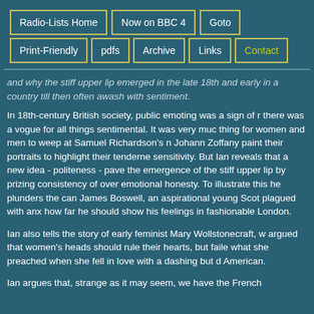Radio-Lists Home | Now on BBC 4 | Goto | Print-Friendly | pdfs | Archive | Links | Contact
and why the stiff upper lip emerged in the late 18th and early in a country till then often awash with sentiment.
In 18th-century British society, public emoting was a sign of r there was a vogue for all things sentimental. It was very muc thing for women and men to weep at Samuel Richardson's n Johann Zoffany paint their portraits to highlight their tenderne sensitivity. But Ian reveals that a new idea - politeness - pave the emergence of the stiff upper lip by prizing consistency of over emotional honesty. To illustrate this he plunders the can James Boswell, an aspirational young Scot plagued with anx how far he should show his feelings in fashionable London.
Ian also tells the story of early feminist Mary Wollstonecraft, w argued that women's heads should rule their hearts, but faile what she preached when she fell in love with a dashing but d American.
Ian argues that, strange as it may seem, we have the French